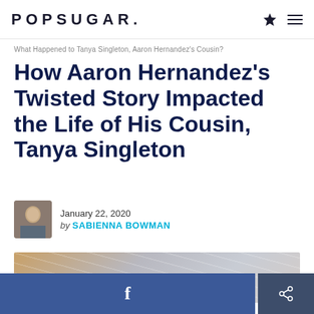POPSUGAR.
What Happened to Tanya Singleton, Aaron Hernandez's Cousin?
How Aaron Hernandez's Twisted Story Impacted the Life of His Cousin, Tanya Singleton
January 22, 2020
by SABIENNA BOWMAN
[Figure (photo): Blurred close-up photo of what appears to be a stadium or arena structure with curved metal beams]
f  [Facebook share button] [Share icon button]